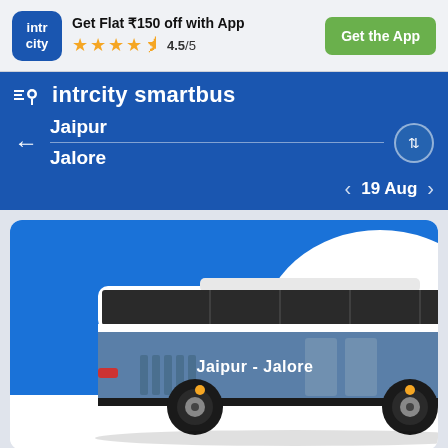[Figure (screenshot): IntrCity app banner with logo, offer text 'Get Flat ₹150 off with App', star rating 4.5/5, and green 'Get the App' button]
intrcity smartbus
Jaipur
Jalore
19 Aug
[Figure (illustration): Illustration of a blue and white bus with text 'Jaipur - Jalore' on the side, on a blue and white background]
Trip Overview